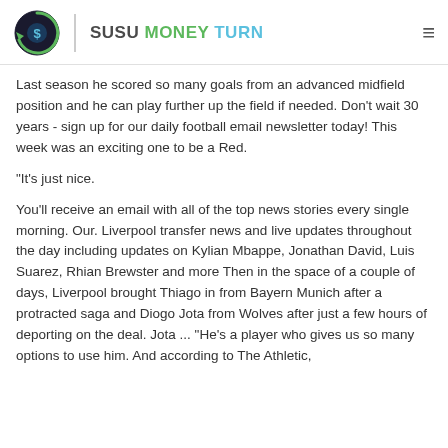SUSU MONEY TURN
Last season he scored so many goals from an advanced midfield position and he can play further up the field if needed. Don't wait 30 years - sign up for our daily football email newsletter today! This week was an exciting one to be a Red.
"It's just nice.
You'll receive an email with all of the top news stories every single morning. Our. Liverpool transfer news and live updates throughout the day including updates on Kylian Mbappe, Jonathan David, Luis Suarez, Rhian Brewster and more Then in the space of a couple of days, Liverpool brought Thiago in from Bayern Munich after a protracted saga and Diogo Jota from Wolves after just a few hours of deporting on the deal. Jota ... "He's a player who gives us so many options to use him. And according to The Athletic,